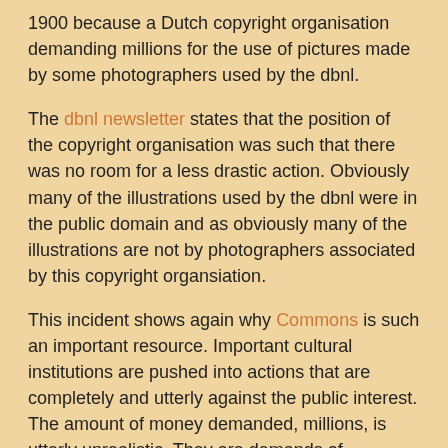1900 because a Dutch copyright organisation demanding millions for the use of pictures made by some photographers used by the dbnl.
The dbnl newsletter states that the position of the copyright organisation was such that there was no room for a less drastic action. Obviously many of the illustrations used by the dbnl were in the public domain and as obviously many of the illustrations are not by photographers associated by this copyright organsiation.
This incident shows again why Commons is such an important resource. Important cultural institutions are pushed into actions that are completely and utterly against the public interest. The amount of money demanded, millions, is utterly unrealistic. They are demands of organisations that try to create a niche for themselves and in the final analysis the photographers will not make much money in relation to what is extorted in this way.
Increasingly relevant material becomes available in the public domain or becomes available under a Free license